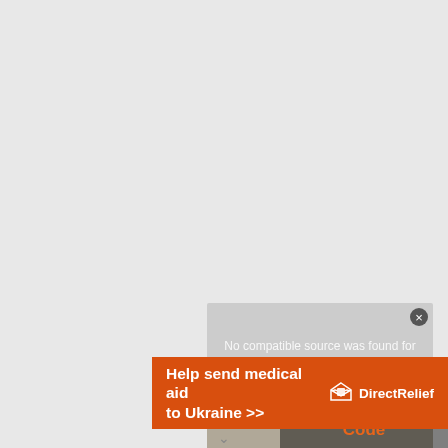[Figure (screenshot): A web page screenshot showing a gray background with a video player overlay displaying 'No compatible source was found for this media.' with a close button. Below it is an orange advertisement banner reading 'Help send medical aid to Ukraine >>' with the Direct Relief logo. Partial thumbnail of a Macros & VBA Code book cover visible at the bottom right.]